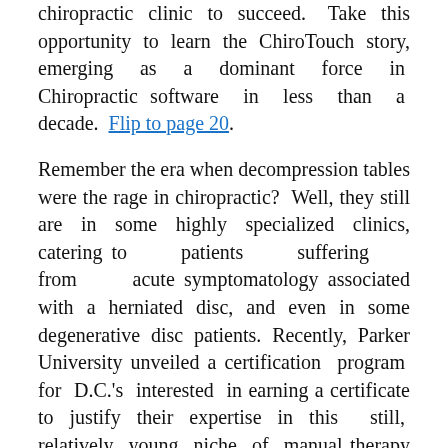chiropractic clinic to succeed. Take this opportunity to learn the ChiroTouch story, emerging as a dominant force in Chiropractic software in less than a decade. Flip to page 20.
Remember the era when decompression tables were the rage in chiropractic? Well, they still are in some highly specialized clinics, catering to patients suffering from acute symptomatology associated with a herniated disc, and even in some degenerative disc patients. Recently, Parker University unveiled a certification program for D.C.'s interested in earning a certificate to justify their expertise in this still, relatively young niche of manual therapy treatment. Read Dr. Kaplan's article on page 20.